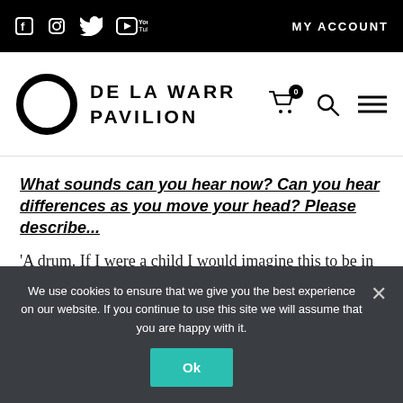DE LA WARR PAVILION — MY ACCOUNT — social icons (Facebook, Instagram, Twitter, YouTube)
What sounds can you hear now? Can you hear differences as you move your head? Please describe...
'A drum. If I were a child I would imagine this to be in a tunnel, but its like being in a vacuum'
We use cookies to ensure that we give you the best experience on our website. If you continue to use this site we will assume that you are happy with it.